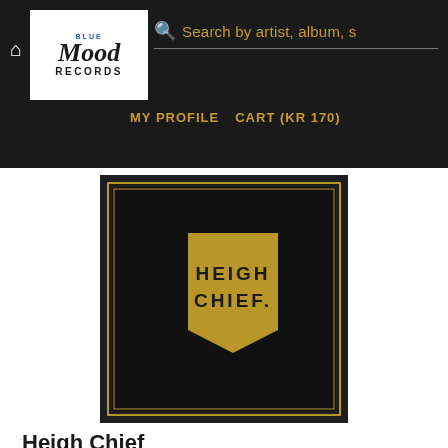Blue Mood Records — MY PROFILE   CART (KR 170)
[Figure (illustration): Album cover for Heigh Chief — dark/black square with a golden pentagon shape containing the text HEIGH CHIEF., set on a black background with a thin gold border]
Heigh Chief
Heigh Chief has taken a step in a new direction, their music is still with a touch of blues, but on this album it has also become rougher and more